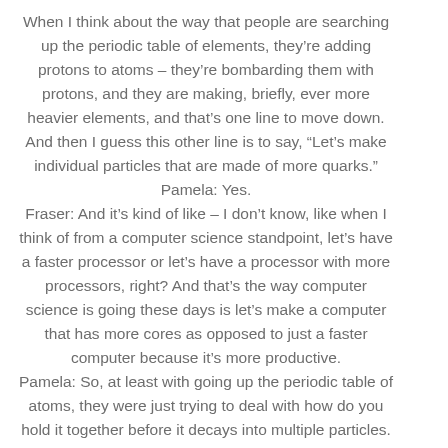When I think about the way that people are searching up the periodic table of elements, they're adding protons to atoms – they're bombarding them with protons, and they are making, briefly, ever more heavier elements, and that's one line to move down. And then I guess this other line is to say, “Let's make individual particles that are made of more quarks.” Pamela: Yes. Fraser: And it's kind of like – I don't know, like when I think of from a computer science standpoint, let's have a faster processor or let's have a processor with more processors, right? And that's the way computer science is going these days is let's make a computer that has more cores as opposed to just a faster computer because it's more productive. Pamela: So, at least with going up the periodic table of atoms, they were just trying to deal with how do you hold it together before it decays into multiple particles. And the issue is the force across the